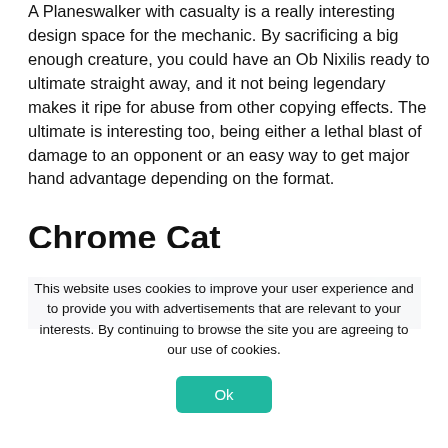A Planeswalker with casualty is a really interesting design space for the mechanic. By sacrificing a big enough creature, you could have an Ob Nixilis ready to ultimate straight away, and it not being legendary makes it ripe for abuse from other copying effects. The ultimate is interesting too, being either a lethal blast of damage to an opponent or an easy way to get major hand advantage depending on the format.
Chrome Cat
[Figure (photo): Partial screenshot of a Magic: The Gathering card named Chrome Cat with a dark blue/purple background]
This website uses cookies to improve your user experience and to provide you with advertisements that are relevant to your interests. By continuing to browse the site you are agreeing to our use of cookies.